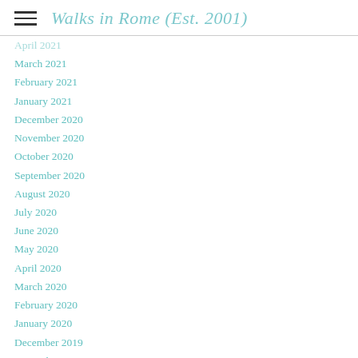Walks in Rome (Est. 2001)
April 2021
March 2021
February 2021
January 2021
December 2020
November 2020
October 2020
September 2020
August 2020
July 2020
June 2020
May 2020
April 2020
March 2020
February 2020
January 2020
December 2019
November 2019